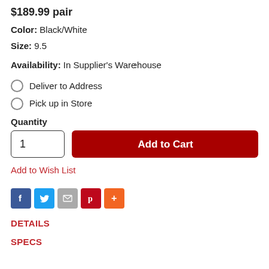$189.99 pair
Color: Black/White
Size: 9.5
Availability: In Supplier's Warehouse
Deliver to Address
Pick up in Store
Quantity
1
Add to Cart
Add to Wish List
[Figure (infographic): Social sharing icons: Facebook, Twitter, Email, Pinterest, More (+)]
DETAILS
SPECS